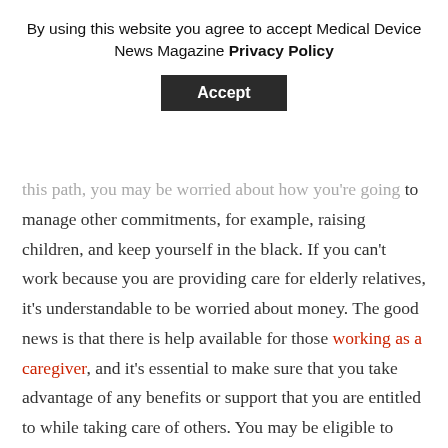By using this website you agree to accept Medical Device News Magazine Privacy Policy
Accept
this path, you may be worried about how you're going to manage other commitments, for example, raising children, and keep yourself in the black. If you can't work because you are providing care for elderly relatives, it's understandable to be worried about money. The good news is that there is help available for those working as a caregiver, and it's essential to make sure that you take advantage of any benefits or support that you are entitled to while taking care of others. You may be eligible to claim payments, which can help to cover bills and bridge the gap while you're not earning.